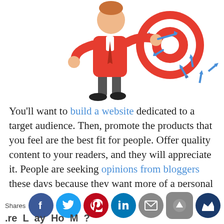[Figure (illustration): Cartoon of a businessman throwing darts at a target/bullseye, with several darts missing and scattered around. The figure wears a red shirt and grey pants.]
You'll want to build a website dedicated to a target audience. Then, promote the products that you feel are the best fit for people. Offer quality content to your readers, and they will appreciate it. People are seeking opinions from bloggers these days because they want more of a personal opinion of the product they're going to buy rather than just a marketing speel.
[Figure (infographic): Social sharing bar at the bottom with Facebook, Twitter, Pinterest, LinkedIn, Email, scroll-up button, and crown icon buttons. Shares label on the left.]